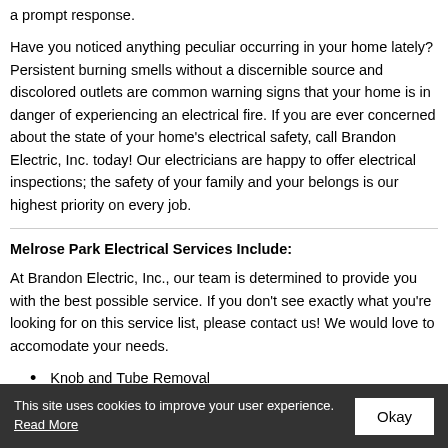a prompt response.
Have you noticed anything peculiar occurring in your home lately? Persistent burning smells without a discernible source and discolored outlets are common warning signs that your home is in danger of experiencing an electrical fire. If you are ever concerned about the state of your home's electrical safety, call Brandon Electric, Inc. today! Our electricians are happy to offer electrical inspections; the safety of your family and your belongs is our highest priority on every job.
Melrose Park Electrical Services Include:
At Brandon Electric, Inc., our team is determined to provide you with the best possible service. If you don't see exactly what you're looking for on this service list, please contact us! We would love to accomodate your needs.
Knob and Tube Removal
Ceiling Fans
This site uses cookies to improve your user experience. Read More